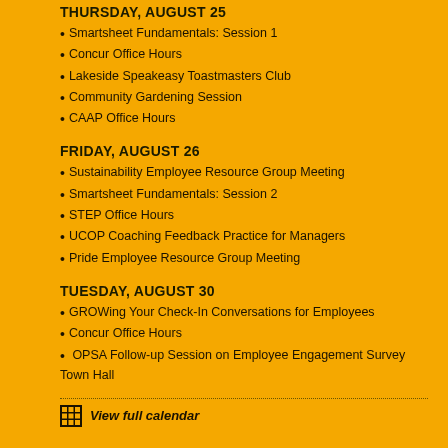THURSDAY, AUGUST 25
Smartsheet Fundamentals: Session 1
Concur Office Hours
Lakeside Speakeasy Toastmasters Club
Community Gardening Session
CAAP Office Hours
FRIDAY, AUGUST 26
Sustainability Employee Resource Group Meeting
Smartsheet Fundamentals: Session 2
STEP Office Hours
UCOP Coaching Feedback Practice for Managers
Pride Employee Resource Group Meeting
TUESDAY, AUGUST 30
GROWing Your Check-In Conversations for Employees
Concur Office Hours
OPSA Follow-up Session on Employee Engagement Survey Town Hall
View full calendar